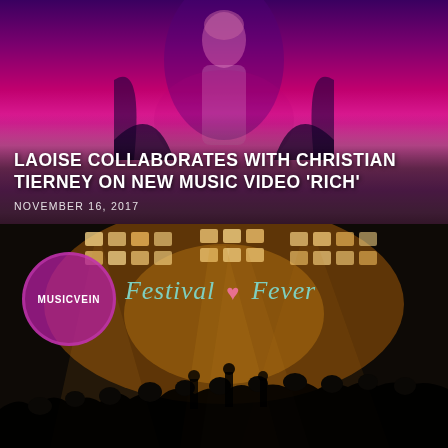[Figure (photo): Woman in white dress bathed in purple-pink stage lighting, top article card image]
LAOISE COLLABORATES WITH CHRISTIAN TIERNEY ON NEW MUSIC VIDEO 'RICH'
NOVEMBER 16, 2017
[Figure (photo): Concert stage photo with dramatic lighting grid and crowd silhouettes, with MusicVein Festival Fever overlay logo]